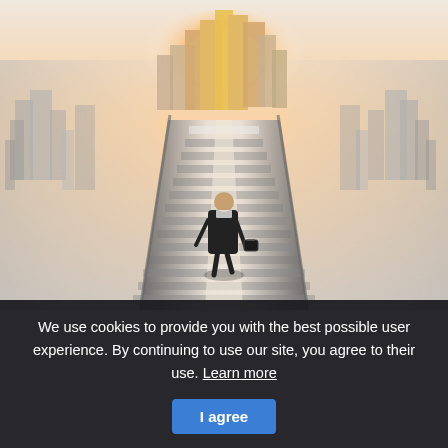[Figure (photo): A businessman in a suit carrying a briefcase walks up large stairs toward a glowing cityscape with tall buildings and warm light at the top. The image is partially desaturated with a dramatic perspective.]
We use cookies to provide you with the best possible user experience. By continuing to use our site, you agree to their use. Learn more